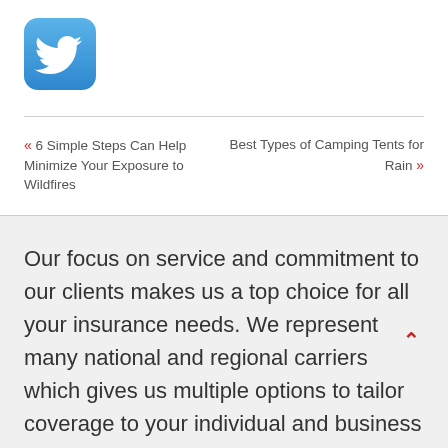[Figure (logo): Twitter bird logo icon — white bird on rounded blue square background]
« 6 Simple Steps Can Help Minimize Your Exposure to Wildfires
Best Types of Camping Tents for Rain »
Our focus on service and commitment to our clients makes us a top choice for all your insurance needs. We represent many national and regional carriers which gives us multiple options to tailor coverage to your individual and business needs at the best possible price.